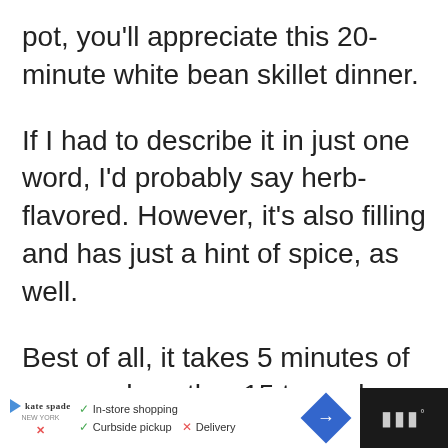pot, you'll appreciate this 20-minute white bean skillet dinner.
If I had to describe it in just one word, I'd probably say herb-flavored. However, it's also filling and has just a hint of spice, as well.
Best of all, it takes 5 minutes of prep and another 15 to cook, and since you'll make everything in one skillet, the clean-up is minimal.
[Figure (screenshot): Advertisement bar at the bottom with Kate Spade logo, in-store shopping, curbside pickup and delivery options, a blue arrow icon, and a dark right panel with weather/app icon]